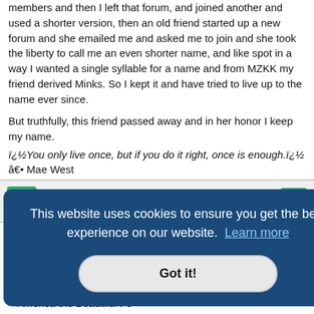members and then I left that forum, and joined another and used a shorter version, then an old friend started up a new forum and she emailed me and asked me to join and she took the liberty to call me an even shorter name, and like spot in a way I wanted a single syllable for a name and from MZKK my friend derived Minks. So I kept it and have tried to live up to the name ever since.
But truthfully, this friend passed away and in her honor I keep my name.
ï¿½You only live once, but if you do it right, once is enough.ï¿½
â¢ Mae West
Philadelphia Eagle
Explain Your User Name
This website uses cookies to ensure you get the best experience on our website. Learn more
Got it!
le is, of
l - there
America the Beautiful :-6